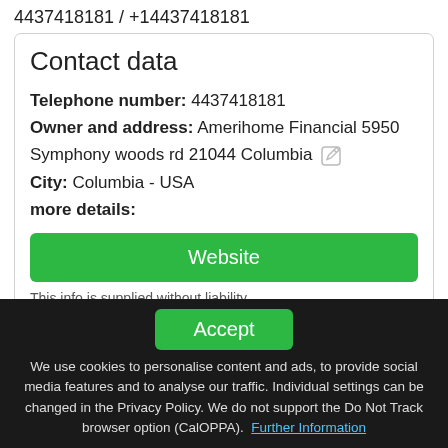4437418181 / +14437418181
Contact data
Telephone number: 4437418181
Owner and address: Amerihome Financial 5950 Symphony woods rd 21044 Columbia
City: Columbia - USA
more details:
Website
This info is supplied without liability.
Map view
Accept
We use cookies to personalise content and ads, to provide social media features and to analyse our traffic. Individual settings can be changed in the Privacy Policy. We do not support the Do Not Track browser option (CalOPPA). Further Information